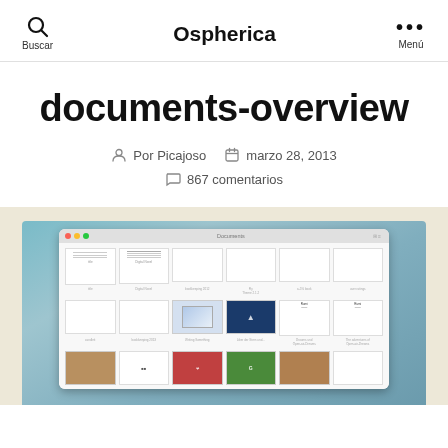Buscar | Ospherica | Menú
documents-overview
Por Picajoso  marzo 28, 2013  867 comentarios
[Figure (screenshot): Screenshot of a Mac documents app showing a grid of document thumbnails with various covers including white, blue, and illustrated covers on a teal/blue background, within a beige/cream colored section.]